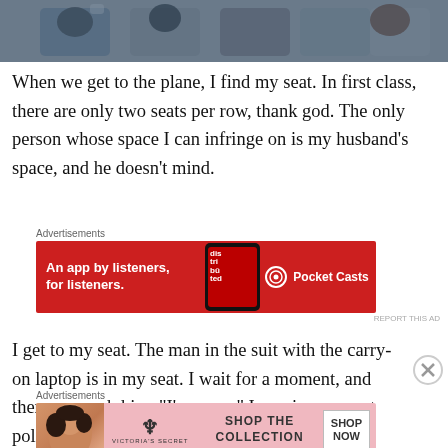[Figure (photo): Photo of airplane seats/passengers from behind, partial view at top of page]
When we get to the plane, I find my seat. In first class, there are only two seats per row, thank god. The only person whose space I can infringe on is my husband’s space, and he doesn’t mind.
[Figure (other): Advertisement banner: Pocket Casts app - 'An app by listeners, for listeners.']
I get to my seat. The man in the suit with the carry-on laptop is in my seat. I wait for a moment, and then approach him. “I’m sorry,” I say, in my most polite
[Figure (other): Advertisement banner: Victoria's Secret - 'Shop the Collection / Shop Now']